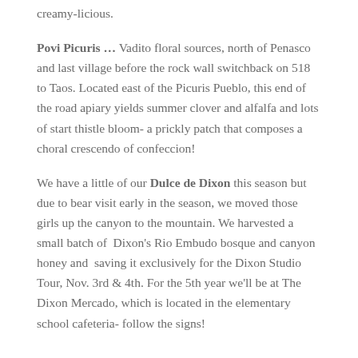creamy-licious.
Povi Picuris … Vadito floral sources, north of Penasco and last village before the rock wall switchback on 518 to Taos. Located east of the Picuris Pueblo, this end of the road apiary yields summer clover and alfalfa and lots of start thistle bloom- a prickly patch that composes a choral crescendo of confeccion!
We have a little of our Dulce de Dixon this season but due to bear visit early in the season, we moved those girls up the canyon to the mountain. We harvested a small batch of Dixon's Rio Embudo bosque and canyon honey and saving it exclusively for the Dixon Studio Tour, Nov. 3rd & 4th. For the 5th year we'll be at The Dixon Mercado, which is located in the elementary school cafeteria- follow the signs!